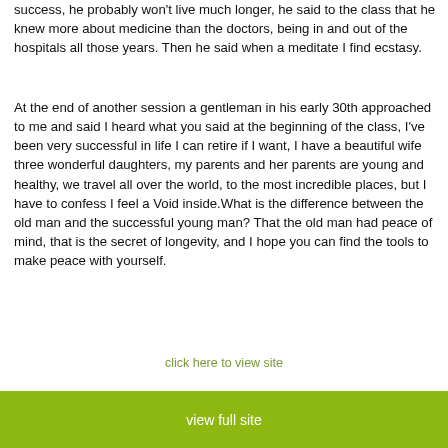success, he probably won't live much longer, he said to the class that he knew more about medicine than the doctors, being in and out of the hospitals all those years. Then he said when a meditate I find ecstasy.
At the end of another session a gentleman in his early 30th approached to me and said I heard what you said at the beginning of the class, I've been very successful in life I can retire if I want, I have a beautiful wife three wonderful daughters, my parents and her parents are young and healthy, we travel all over the world, to the most incredible places, but I have to confess I feel a Void inside.What is the difference between the old man and the successful young man? That the old man had peace of mind, that is the secret of longevity, and I hope you can find the tools to make peace with yourself.
click here to view site
view full site